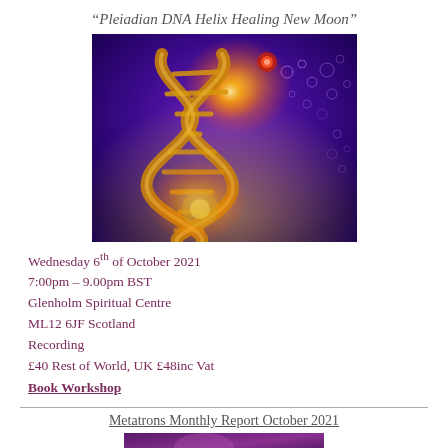“Pleiadian DNA Helix Healing New Moon”
[Figure (illustration): Colorful digital art showing a golden DNA double helix structure set against a vivid purple and blue cosmic background with glowing orange and white light orbs, bubbles, and a yellow glow at the bottom.]
Wednesday 6th of October 2021
7:00pm – 9.00pm BST
Glenholm Spiritual Centre
ML12 6JF Scotland
Recording
£40 Rest of World, UK £48inc Vat
Book Workshop
Metatrons Monthly Report October 2021
[Figure (photo): Partial image visible at bottom of page, appears to be a purple-toned photo.]